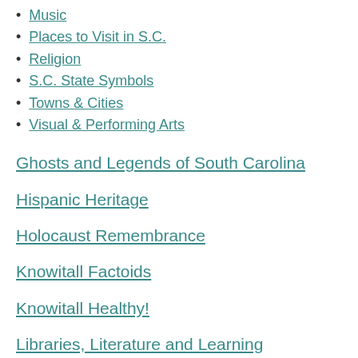Music
Places to Visit in S.C.
Religion
S.C. State Symbols
Towns & Cities
Visual & Performing Arts
Ghosts and Legends of South Carolina
Hispanic Heritage
Holocaust Remembrance
Knowitall Factoids
Knowitall Healthy!
Libraries, Literature and Learning